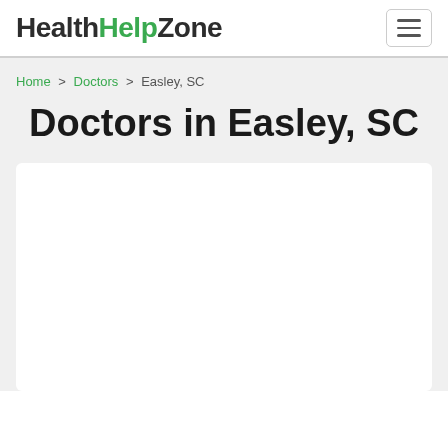HealthHelpZone
Home > Doctors > Easley, SC
Doctors in Easley, SC